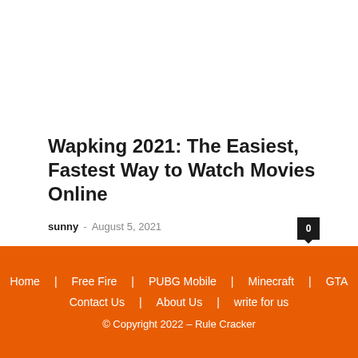Wapking 2021: The Easiest, Fastest Way to Watch Movies Online
sunny – August 5, 2021
Home  Free Fire  PUBG Mobile  Minecraft  GTA  Contact Us  About Us  write for us  © Copyright 2022 – Rule Cracker